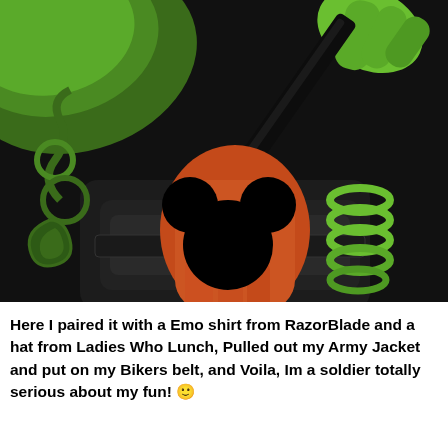[Figure (illustration): 3D rendered video game character close-up showing green alien/creature hands with orange palm, black Mickey Mouse silhouette censor bar on hand, dark armor/belt, green tentacle-like accessories and coiled spring elements on right side, and dark layered clothing]
Here I paired it with a Emo shirt from RazorBlade and a hat from Ladies Who Lunch, Pulled out my Army Jacket and put on my Bikers belt, and Voila, Im a soldier totally serious about my fun! 🙂